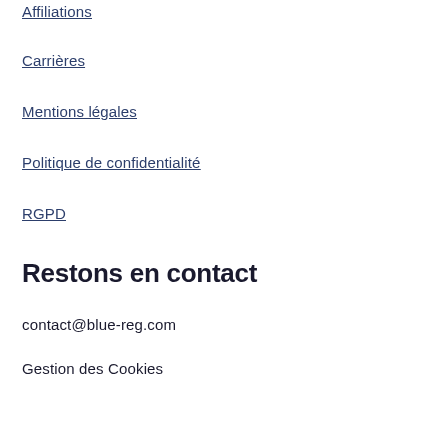Affiliations
Carrières
Mentions légales
Politique de confidentialité
RGPD
Restons en contact
contact@blue-reg.com
Gestion des Cookies